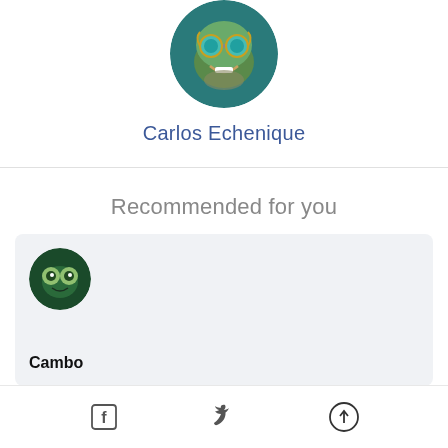[Figure (photo): Circular avatar of a stylized character with goggles/mask, teal and gold tones]
Carlos Echenique
Recommended for you
[Figure (photo): Circular avatar of a dark green character with large eyes]
Cambo
Facebook share, Twitter share, Upload/share button icons